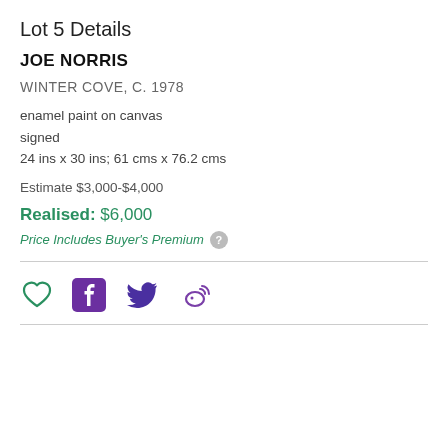Lot 5 Details
JOE NORRIS
WINTER COVE, C. 1978
enamel paint on canvas
signed
24 ins x 30 ins; 61 cms x 76.2 cms
Estimate $3,000-$4,000
Realised: $6,000
Price Includes Buyer's Premium